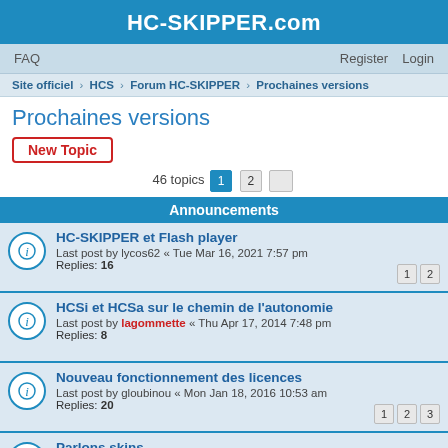HC-SKIPPER.com
FAQ   Register   Login
Site officiel › HCS › Forum HC-SKIPPER › Prochaines versions
Prochaines versions
New Topic
46 topics  1  2
Announcements
HC-SKIPPER et Flash player
Last post by lycos62 « Tue Mar 16, 2021 7:57 pm
Replies: 16
HCSi et HCSa sur le chemin de l'autonomie
Last post by lagommette « Thu Apr 17, 2014 7:48 pm
Replies: 8
Nouveau fonctionnement des licences
Last post by gloubinou « Mon Jan 18, 2016 10:53 am
Replies: 20
Parlons skins
Last post by lagommette « Thu Jun 15, 2017 8:19 pm
Replies: 30